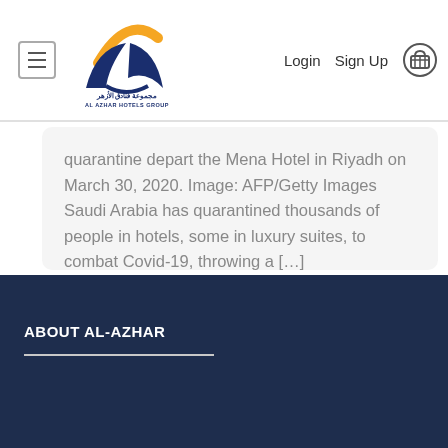[Figure (logo): Al Azhar Hotels Group logo — bird/wing shape in blue and gold with Arabic and English text]
Login
Sign Up
quarantine depart the Mena Hotel in Riyadh on March 30, 2020. Image: AFP/Getty Images Saudi Arabia has quarantined thousands of people in hotels, some in luxury suites, to combat Covid-19, throwing a […]
ABOUT AL-AZHAR